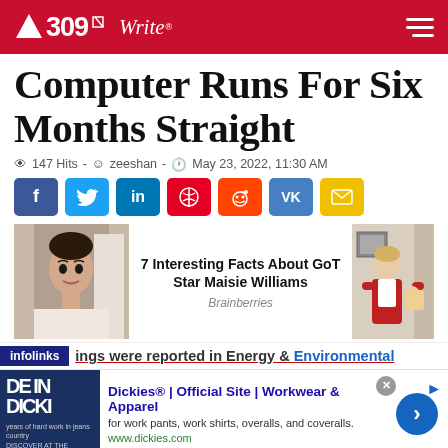A309Write — navigation header
Computer Runs For Six Months Straight
👁 147 Hits - 👤 zeeshan - 🕐 May 23, 2022, 11:30 AM
[Figure (infographic): Social share buttons: Facebook (blue), Twitter (light blue), LinkedIn (blue), Pinterest (red), Reddit (orange-red), VK (slate blue), Email (yellow)]
[Figure (infographic): Promoted content widget: left photo of a young woman, center text '7 Interesting Facts About GoT Star Maisie Williams' with source 'Brainberries', right photo of a person]
ings were reported in Energy & Environmental
[Figure (infographic): Advertisement: Dickies® | Official Site | Workwear & Apparel — for work pants, work shirts, overalls, and coveralls. www.dickies.com]